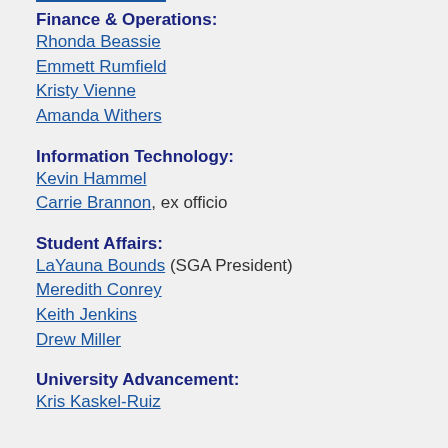Finance & Operations:
Rhonda Beassie
Emmett Rumfield
Kristy Vienne
Amanda Withers
Information Technology:
Kevin Hammel
Carrie Brannon, ex officio
Student Affairs:
LaYauna Bounds (SGA President)
Meredith Conrey
Keith Jenkins
Drew Miller
University Advancement:
Kris Kaskel-Ruiz